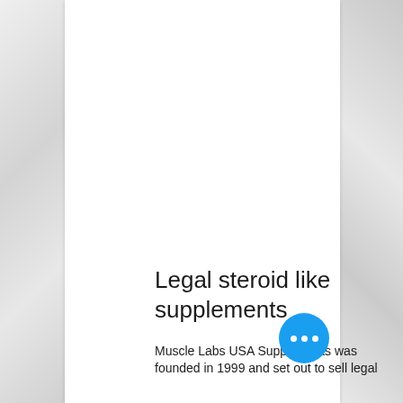Legal steroid like supplements
Muscle Labs USA Supplements was founded in 1999 and set out to sell legal